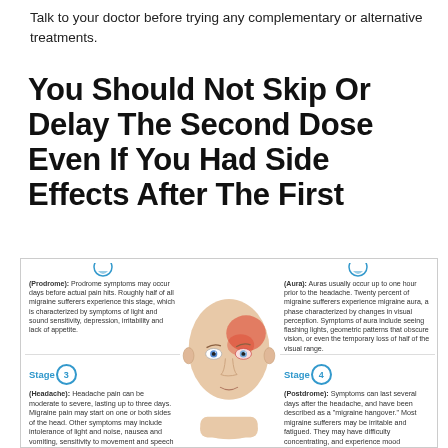Talk to your doctor before trying any complementary or alternative treatments.
You Should Not Skip Or Delay The Second Dose Even If You Had Side Effects After The First
[Figure (infographic): Medical infographic showing the 4 stages of a migraine with a central illustration of a human head (bald, showing red/inflamed area on forehead/eye). Left side shows Stage 1 (Prodrome) and Stage 3 (Headache) descriptions. Right side shows Stage 2 (Aura) and Stage 4 (Postdrome) descriptions. Stage labels are in teal/blue with circled numbers.]